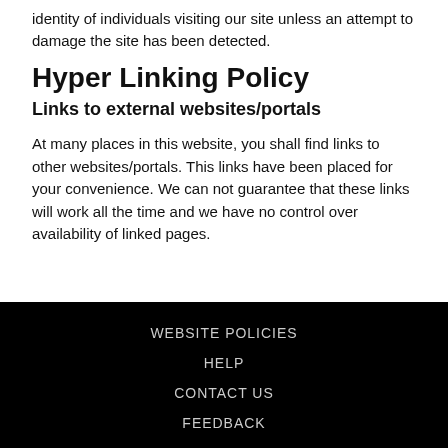identity of individuals visiting our site unless an attempt to damage the site has been detected.
Hyper Linking Policy
Links to external websites/portals
At many places in this website, you shall find links to other websites/portals. This links have been placed for your convenience. We can not guarantee that these links will work all the time and we have no control over availability of linked pages.
WEBSITE POLICIES HELP CONTACT US FEEDBACK